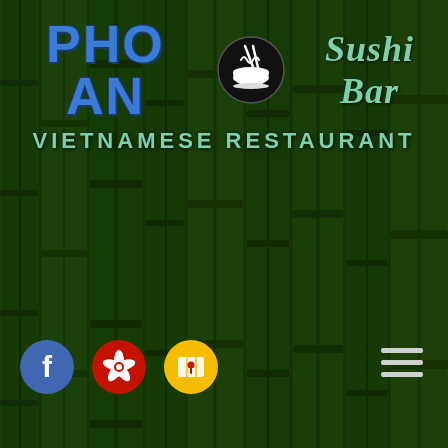[Figure (illustration): Dark green bamboo stalks background filling the entire page]
PHO AN Sushi Bar
VIETNAMESE RESTAURANT
[Figure (logo): Facebook icon - blue circle with white F]
[Figure (logo): Yelp icon - red circle with white Yelp burst logo]
[Figure (logo): Map/location icon - yellow circle with white map symbol]
[Figure (other): Hamburger menu icon - three horizontal white lines on right side]